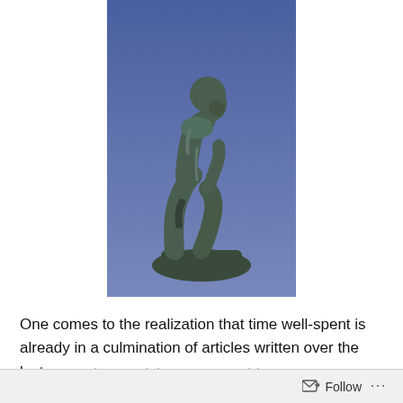[Figure (photo): Photograph of Rodin's The Thinker statue, a bronze figure of a man seated, leaning forward with his chin resting on his hand, against a blue sky background.]
One comes to the realization that time well-spent is already in a culmination of articles written over the last several years (please see archives or more information at
Follow ...